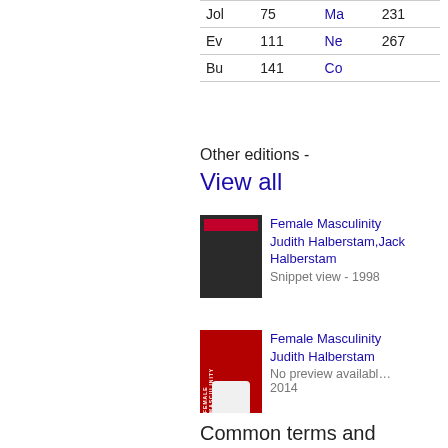| Jol | 75 | Ma | 231 |
| Ev | 111 | Ne | 267 |
| Bu | 141 | Co |  |
Other editions - View all
Female Masculinity Judith Halberstam,Jack Halberstam
Snippet view - 1998
Female Masculinity Judith Halberstam
No preview available - 2014
Common terms and phrases